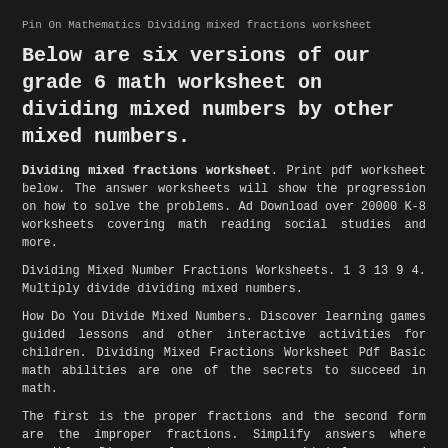Pin On Mathematics Dividing mixed fractions worksheet
Below are six versions of our grade 6 math worksheet on dividing mixed numbers by other mixed numbers.
Dividing mixed fractions worksheet. Print pdf worksheet below. The answer worksheets will show the progression on how to solve the problems. Ad Download over 20000 K-8 worksheets covering math reading social studies and more.
Dividing Mixed Number Fractions Worksheets. 1 3 13 9 4. Multiply divide dividing mixed numbers.
How Do You Divide Mixed Numbers. Discover learning games guided lessons and other interactive activities for children. Dividing Mixed Fractions Worksheet Pdf Basic math abilities are one of the secrets to succeed in math.
The first is the proper fractions and the second form are the improper fractions. Simplify answers where possible. Discover learning games guided lessons and other interactive activities